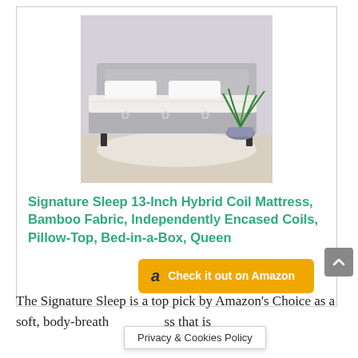[Figure (photo): Product photo of Signature Sleep 13-Inch Hybrid Coil Mattress on a bed frame with white pillows and a green plant in the background]
Signature Sleep 13-Inch Hybrid Coil Mattress, Bamboo Fabric, Independently Encased Coils, Pillow-Top, Bed-in-a-Box, Queen
Check it out on Amazon
The Signature Sleep is a top pick by Amazon's Choice as a soft, body-breath ss that is
Privacy & Cookies Policy